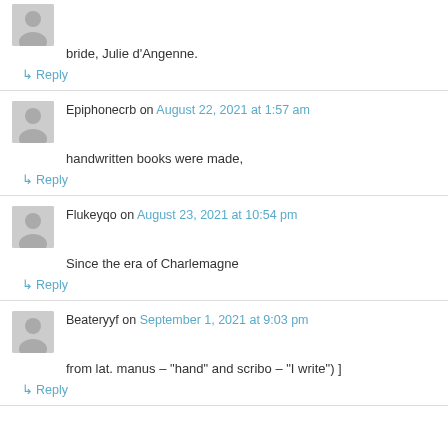bride, Julie d'Angenne.
↳ Reply
Epiphonecrb on August 22, 2021 at 1:57 am
handwritten books were made,
↳ Reply
Flukeyqo on August 23, 2021 at 10:54 pm
Since the era of Charlemagne
↳ Reply
Beateryyf on September 1, 2021 at 9:03 pm
from lat. manus – "hand" and scribo – "I write") ]
↳ Reply